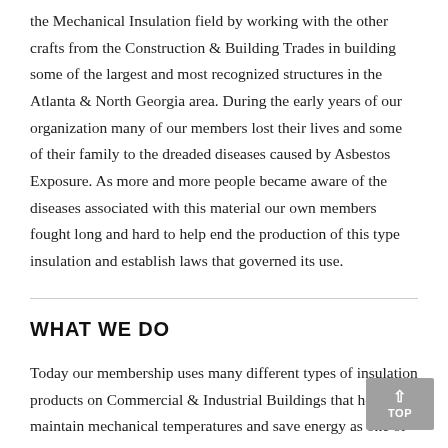the Mechanical Insulation field by working with the other crafts from the Construction & Building Trades in building some of the largest and most recognized structures in the Atlanta & North Georgia area. During the early years of our organization many of our members lost their lives and some of their family to the dreaded diseases caused by Asbestos Exposure. As more and more people became aware of the diseases associated with this material our own members fought long and hard to help end the production of this type insulation and establish laws that governed its use.
WHAT WE DO
Today our membership uses many different types of insulation products on Commercial & Industrial Buildings that help maintain mechanical temperatures and save energy as one of the greenest trades around. Our specialization in Mechanical Insulation goes well beyond HVAC equipment and also being more competent behind...